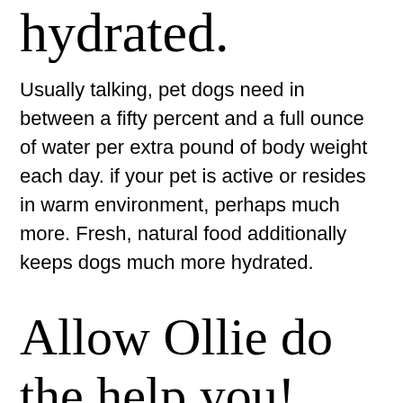hydrated.
Usually talking, pet dogs need in between a fifty percent and a full ounce of water per extra pound of body weight each day. if your pet is active or resides in warm environment, perhaps much more. Fresh, natural food additionally keeps dogs much more hydrated.
Allow Ollie do the help you!